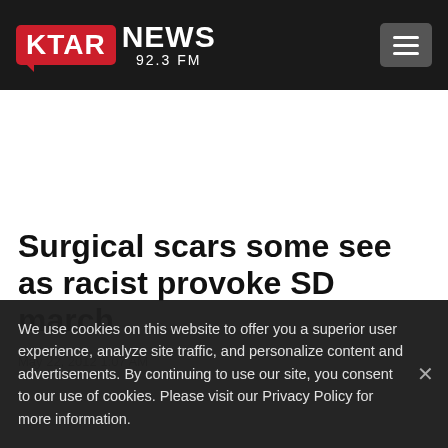KTAR NEWS 92.3 FM
Surgical scars some see as racist provoke SD march
May 22, 2012 1:07 AM
We use cookies on this website to offer you a superior user experience, analyze site traffic, and personalize content and advertisements. By continuing to use our site, you consent to our use of cookies. Please visit our Privacy Policy for more information.